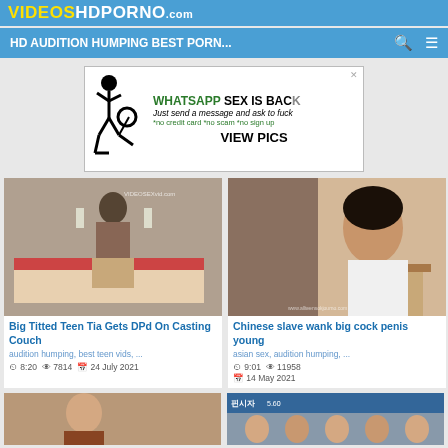VIDEOSHDPORNO.com
HD AUDITION HUMPING BEST PORN...
[Figure (photo): Advertisement banner: stick figure illustration with text 'WHATSAPP SEX IS BACK', 'Just send a message and ask to fuck', '*no credit card *no scam *no sign up', 'VIEW PICS']
[Figure (photo): Video thumbnail: young woman in hotel room]
Big Titted Teen Tia Gets DPd On Casting Couch
audition humping, best teen vids, ...
8:20  7814  24 July 2021
[Figure (photo): Video thumbnail: Asian woman in bedroom]
Chinese slave wank big cock penis young
asian sex, audition humping, ...
9:01  11958  14 May 2021
[Figure (photo): Video thumbnail bottom left: partial view]
[Figure (photo): Video thumbnail bottom right: group of women with Korean text overlay]